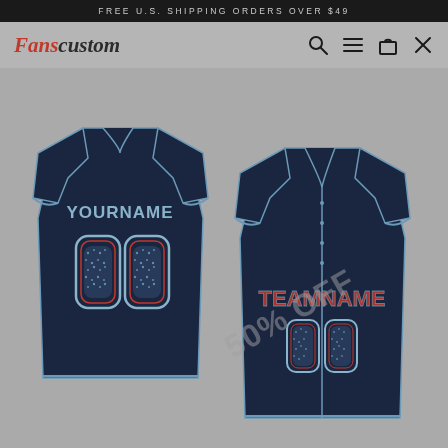FREE U.S. SHIPPING ORDERS OVER $49
[Figure (logo): Fanscustom logo with red 'Fans' and dark 'custom' in italic serif style]
[Figure (photo): Two custom navy blue baseball jerseys shown front and back. Back jersey shows 'YOURNAME' and '00' in sparkle/rhinestone style with light blue and red accents. Front jersey shows 'TEAMNAME' and '00' in same style. A '50% OFF' watermark is overlaid diagonally across the image.]